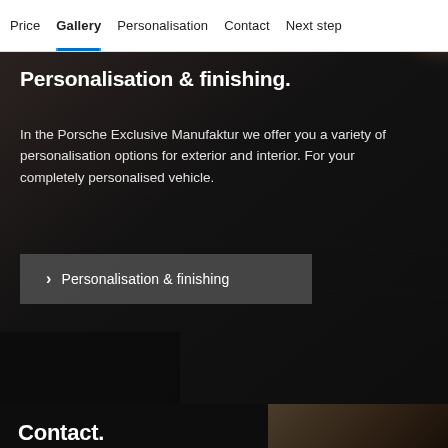Price  Gallery  Personalisation  Contact  Next step
Personalisation & finishing.
In the Porsche Exclusive Manufaktur we offer you a variety of personalisation options for exterior and interior. For your completely personalised vehicle.
> Personalisation & finishing
Contact.